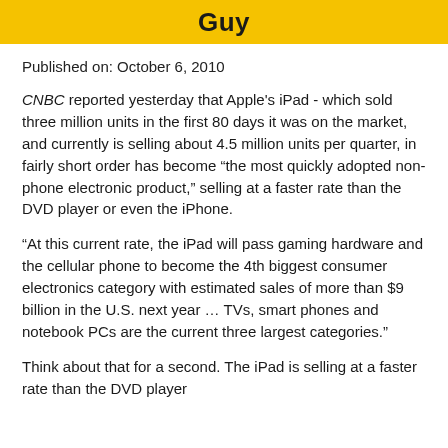Guy
Published on: October 6, 2010
CNBC reported yesterday that Apple's iPad - which sold three million units in the first 80 days it was on the market, and currently is selling about 4.5 million units per quarter, in fairly short order has become “the most quickly adopted non-phone electronic product,” selling at a faster rate than the DVD player or even the iPhone.
“At this current rate, the iPad will pass gaming hardware and the cellular phone to become the 4th biggest consumer electronics category with estimated sales of more than $9 billion in the U.S. next year … TVs, smart phones and notebook PCs are the current three largest categories.”
Think about that for a second. The iPad is selling at a faster rate than the DVD player